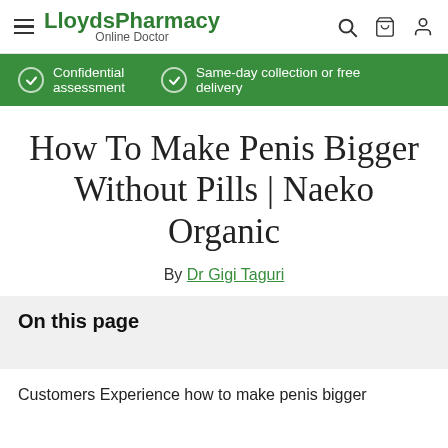LloydsPharmacy Online Doctor — nav bar with hamburger menu, search, cart, and user icons
Confidential assessment | Same-day collection or free delivery
How To Make Penis Bigger Without Pills | Naeko Organic
By Dr Gigi Taguri
On this page
Customers Experience how to make penis bigger